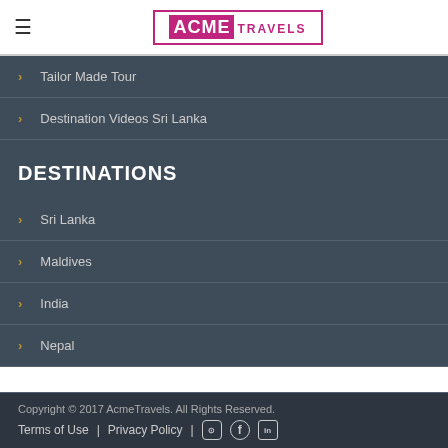ACME TRAVELS
Tailor Made Tour
Destination Videos Sri Lanka
DESTINATIONS
Sri Lanka
Maldives
India
Nepal
Copyright © 2017 AcmeTravels. All Rights Reserved. | Terms of Use | Privacy Policy